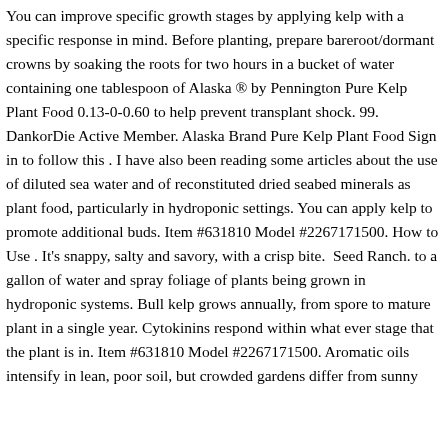You can improve specific growth stages by applying kelp with a specific response in mind. Before planting, prepare bareroot/dormant crowns by soaking the roots for two hours in a bucket of water containing one tablespoon of Alaska ® by Pennington Pure Kelp Plant Food 0.13-0-0.60 to help prevent transplant shock. 99. DankorDie Active Member. Alaska Brand Pure Kelp Plant Food Sign in to follow this . I have also been reading some articles about the use of diluted sea water and of reconstituted dried seabed minerals as plant food, particularly in hydroponic settings. You can apply kelp to promote additional buds. Item #631810 Model #2267171500. How to Use . It's snappy, salty and savory, with a crisp bite. Seed Ranch. to a gallon of water and spray foliage of plants being grown in hydroponic systems. Bull kelp grows annually, from spore to mature plant in a single year. Cytokinins respond within what ever stage that the plant is in. Item #631810 Model #2267171500. Aromatic oils intensify in lean, poor soil, but crowded gardens differ from sunny